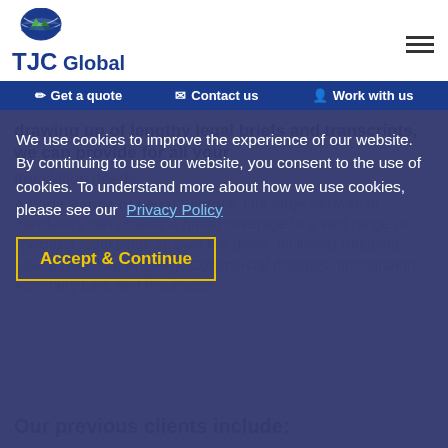TJC Global
Get a quote   Contact us   Work with us
drawing up of lengthy legal briefs and transcripts, we can provide for all your translation needs.
A Wide Range of Legal Sectors. Our large network of translators...
We use cookies to improve the experience of our website. By continuing to use our website, you consent to the use of cookies. To understand more about how we use cookies, please see our Privacy Policy
Accept & Continue
Our previous clients include: